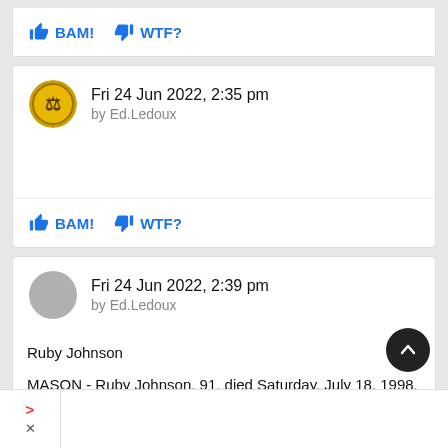BAM!  WTF?
Fri 24 Jun 2022, 2:35 pm
by Ed.Ledoux
BAM!  WTF?
Fri 24 Jun 2022, 2:39 pm
by Ed.Ledoux
Ruby Johnson
MASON - Ruby Johnson, 91, died Saturday, July 18, 1998, in a